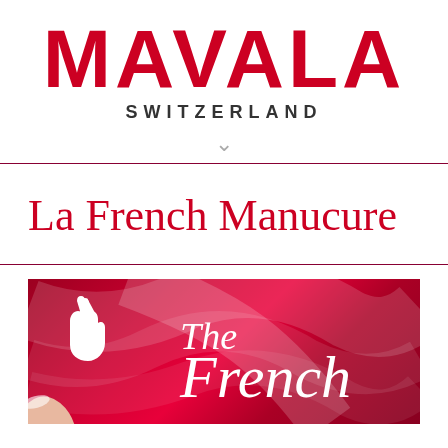MAVALA
SWITZERLAND
La French Manucure
[Figure (photo): Red silky fabric background with white Mavala hand/nail logo icon on left side, and white italic text reading 'The French' overlaid on the right portion of the image. A finger/nail is visible at the bottom left corner.]